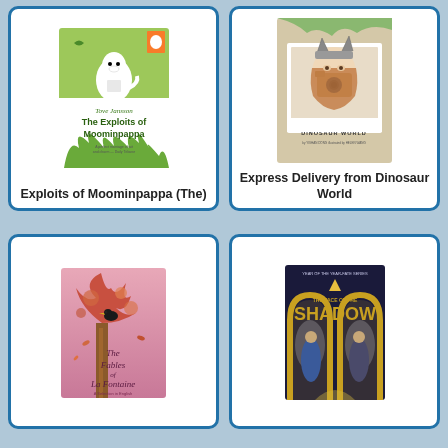[Figure (illustration): Book cover: The Exploits of Moominpappa by Tove Jansson, green background with Moomin character]
Exploits of Moominpappa (The)
[Figure (illustration): Book cover: Express Delivery from Dinosaur World, polaroid-style girl with camera]
Express Delivery from Dinosaur World
[Figure (illustration): Book cover: The Fables of La Fontaine, tree with bird on pink background]
[Figure (illustration): Book cover: The Face of the Shadow, fantasy arch with two figures]